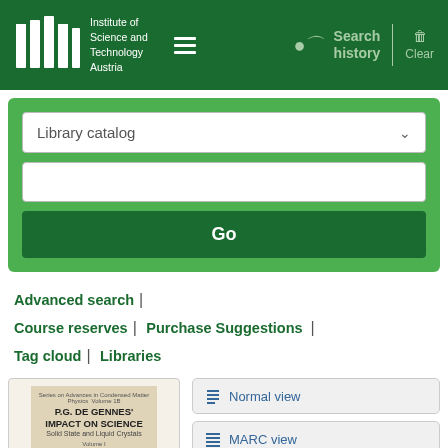[Figure (screenshot): ISTA (Institute of Science and Technology Austria) library catalog web interface screenshot showing header with logo, search history, search box with Library catalog dropdown, Go button, navigation links (Advanced search, Course reserves, Purchase Suggestions, Tag cloud, Libraries), and a book cover for P.G. de Gennes Impact on Science with view options (Normal view, MARC view, ISBD view).]